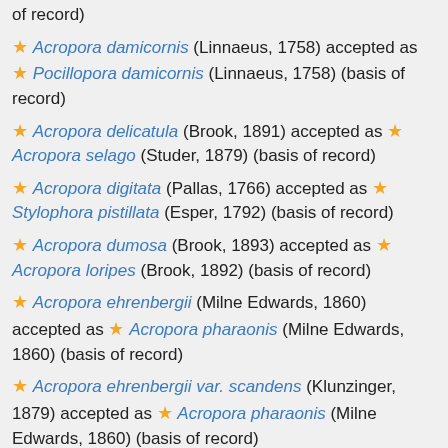of record)
★ Acropora damicornis (Linnaeus, 1758) accepted as ★ Pocillopora damicornis (Linnaeus, 1758) (basis of record)
★ Acropora delicatula (Brook, 1891) accepted as ★ Acropora selago (Studer, 1879) (basis of record)
★ Acropora digitata (Pallas, 1766) accepted as ★ Stylophora pistillata (Esper, 1792) (basis of record)
★ Acropora dumosa (Brook, 1893) accepted as ★ Acropora loripes (Brook, 1892) (basis of record)
★ Acropora ehrenbergii (Milne Edwards, 1860) accepted as ★ Acropora pharaonis (Milne Edwards, 1860) (basis of record)
★ Acropora ehrenbergii var. scandens (Klunzinger, 1879) accepted as ★ Acropora pharaonis (Milne Edwards, 1860) (basis of record)
★ Acropora formosa var. brachiata (Dana, 1846) accepted as ★ Acropora muricata (Linnaeus, 1758) (basis of record)